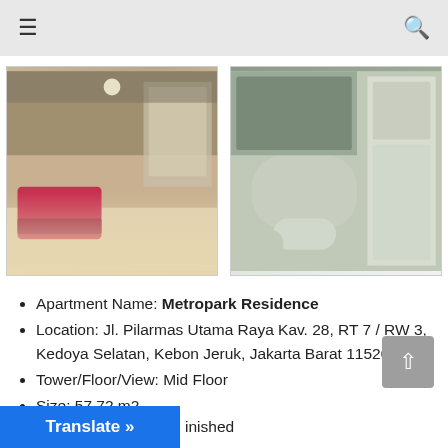Navigation bar with menu and search icons
[Figure (photo): Two apartment photos side by side: left shows a living room with red sofa and glass door, right shows a bathroom with shower and toilet]
Apartment Name: Metropark Residence
Location: Jl. Pilarmas Utama Raya Kav. 28, RT 7 / RW 3, Kedoya Selatan, Kebon Jeruk, Jakarta Barat 11520
Tower/Floor/View: Mid Floor
Size: 57.72 m2
Bedroom: 2
Bathroom: 1
Translate »
inished